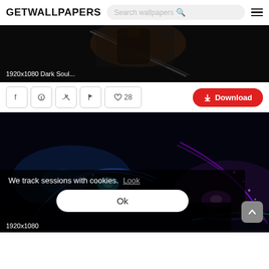GETWALLPAPERS
[Figure (screenshot): Dark Souls dark fantasy wallpaper thumbnail, 1920x1080]
1920x1080 Dark Soul...
Social share icons: Facebook, Pinterest, Twitter, Flag, Heart 28 | Download button
[Figure (screenshot): Abstract blue and purple light waves wallpaper on black background, 1920x1080]
We track sessions with cookies. Look
Ok
1920x1080